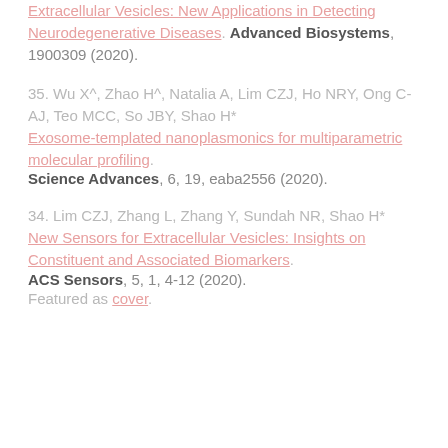Extracellular Vesicles: New Applications in Detecting Neurodegenerative Diseases. Advanced Biosystems, 1900309 (2020).
35. Wu X^, Zhao H^, Natalia A, Lim CZJ, Ho NRY, Ong C-AJ, Teo MCC, So JBY, Shao H* Exosome-templated nanoplasmonics for multiparametric molecular profiling. Science Advances, 6, 19, eaba2556 (2020).
34. Lim CZJ, Zhang L, Zhang Y, Sundah NR, Shao H* New Sensors for Extracellular Vesicles: Insights on Constituent and Associated Biomarkers. ACS Sensors, 5, 1, 4-12 (2020). Featured as cover.